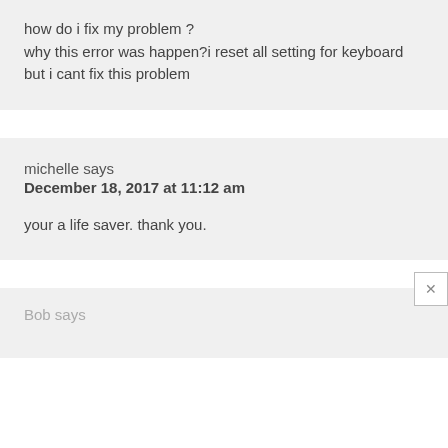how do i fix my problem ?
why this error was happen?i reset all setting for keyboard but i cant fix this problem
michelle says
December 18, 2017 at 11:12 am
your a life saver. thank you.
Bob says